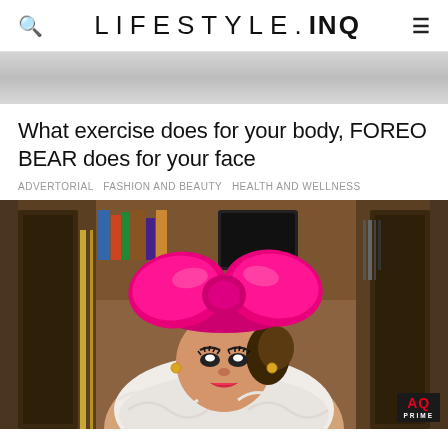LIFESTYLE.INQ
[Figure (photo): Gray banner/advertisement placeholder image]
What exercise does for your body, FOREO BEAR does for your face
ADVERTORIAL   FASHION AND BEAUTY   HEALTH AND WELLNESS
[Figure (photo): A woman wearing a large pink bow hat and a white feathered outfit, with an AQ PRIME logo visible in the bottom right corner]